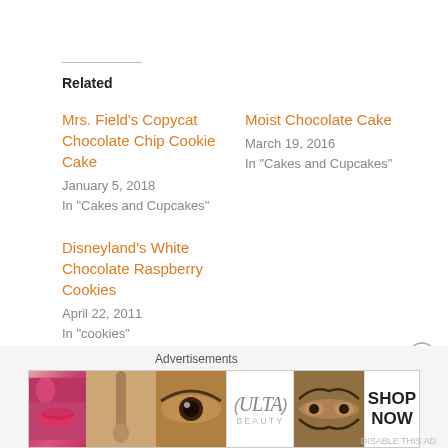Related
Mrs. Field's Copycat Chocolate Chip Cookie Cake
January 5, 2018
In "Cakes and Cupcakes"
Moist Chocolate Cake
March 19, 2016
In "Cakes and Cupcakes"
Disneyland's White Chocolate Raspberry Cookies
April 22, 2011
In "cookies"
Advertisements